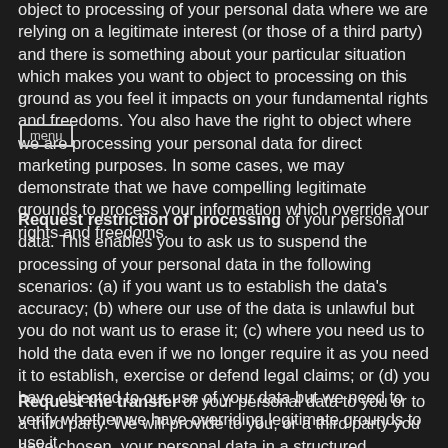object to processing of your personal data where we are relying on a legitimate interest (or those of a third party) and there is something about your particular situation which makes you want to object to processing on this ground as you feel it impacts on your fundamental rights and freedoms. You also have the right to object where we are processing your personal data for direct marketing purposes. In some cases, we may demonstrate that we have compelling legitimate grounds to process your information which override your rights and freedoms.
Request restriction of processing of your personal data. This enables you to ask us to suspend the processing of your personal data in the following scenarios: (a) if you want us to establish the data's accuracy; (b) where our use of the data is unlawful but you do not want us to erase it; (c) where you need us to hold the data even if we no longer require it as you need it to establish, exercise or defend legal claims; or (d) you have objected to our use of your data but we need to verify whether we have overriding legitimate grounds to use it.
Request the transfer of your personal data to you or to a third party. We will provide to you, or a third party you have chosen, your personal data in a structured, commonly used,